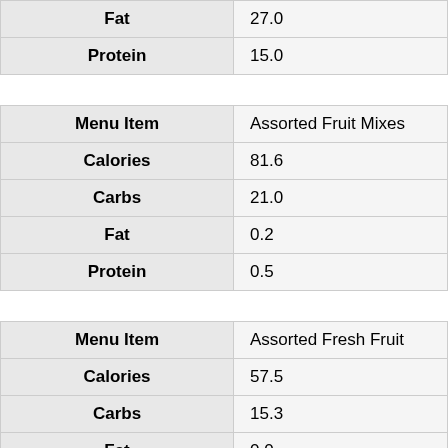| Field | Value |
| --- | --- |
| Fat | 27.0 |
| Protein | 15.0 |
| Menu Item | Assorted Fruit Mixes |
| Calories | 81.6 |
| Carbs | 21.0 |
| Fat | 0.2 |
| Protein | 0.5 |
| Menu Item | Assorted Fresh Fruit |
| Calories | 57.5 |
| Carbs | 15.3 |
| Fat | 0.0 |
| Protein | 0.1 |
| Menu Item | Signature Side Salad |
| Calories | 16.6 |
| Carbs | 3.6 |